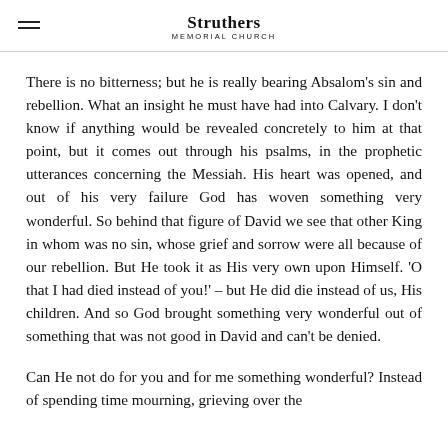Struthers Memorial Church
There is no bitterness; but he is really bearing Absalom's sin and rebellion. What an insight he must have had into Calvary. I don't know if anything would be revealed concretely to him at that point, but it comes out through his psalms, in the prophetic utterances concerning the Messiah. His heart was opened, and out of his very failure God has woven something very wonderful. So behind that figure of David we see that other King in whom was no sin, whose grief and sorrow were all because of our rebellion. But He took it as His very own upon Himself. 'O that I had died instead of you!' – but He did die instead of us, His children. And so God brought something very wonderful out of something that was not good in David and can't be denied.
Can He not do for you and for me something wonderful? Instead of spending time mourning, grieving over the